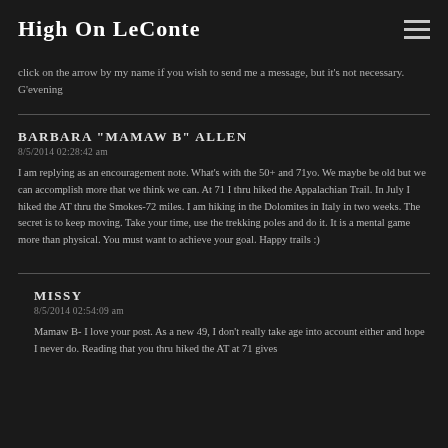High On LeConte
click on the arrow by my name if you wish to send me a message, but it's not necessary. G'evening
BARBARA "MAMAW B" ALLEN
8/5/2014 02:28:42 am
I am replying as an encouragement note. What's with the 50+ and 71yo. We maybe be old but we can accomplish more that we think we can. At 71 I thru hiked the Appalachian Trail. In July I hiked the AT thru the Smokes-72 miles. I am hiking in the Dolomites in Italy in two weeks. The secret is to keep moving. Take your time, use the trekking poles and do it. It is a mental game more than physical. You must want to achieve your goal. Happy trails :)
MISSY
8/5/2014 02:54:09 am
Mamaw B- I love your post. As a new 49, I don't really take age into account either and hope I never do. Reading that you thru hiked the AT at 71 gives